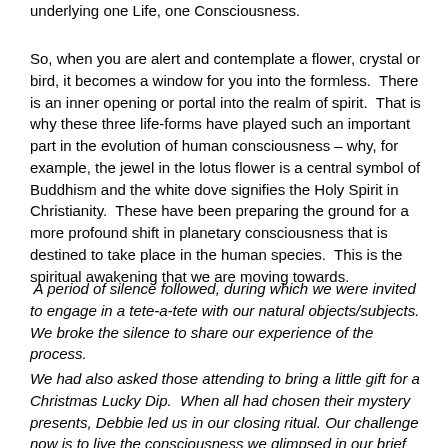underlying one Life, one Consciousness.
So, when you are alert and contemplate a flower, crystal or bird, it becomes a window for you into the formless.  There is an inner opening or portal into the realm of spirit.  That is why these three life-forms have played such an important part in the evolution of human consciousness – why, for example, the jewel in the lotus flower is a central symbol of Buddhism and the white dove signifies the Holy Spirit in Christianity.  These have been preparing the ground for a more profound shift in planetary consciousness that is destined to take place in the human species.  This is the spiritual awakening that we are moving towards.
A period of silence followed, during which we were invited to engage in a tete-a-tete with our natural objects/subjects.  We broke the silence to share our experience of the process.
We had also asked those attending to bring a little gift for a Christmas Lucky Dip.  When all had chosen their mystery presents, Debbie led us in our closing ritual. Our challenge now is to live the consciousness we glimpsed in our brief